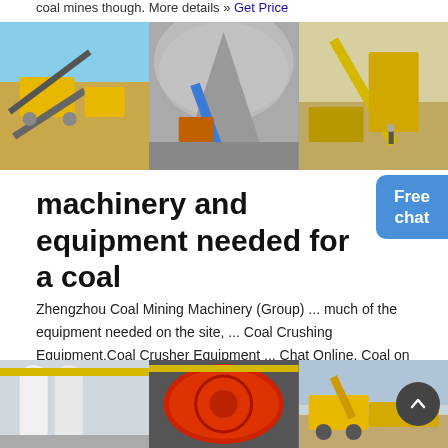coal mines though. More details » Get Price
[Figure (photo): Three photos of coal mining machinery and conveyor belt equipment in industrial/mining settings]
machinery and equipment needed for a coal
Zhengzhou Coal Mining Machinery (Group) ... much of the equipment needed on the site, ... Coal Crushing Equipment,Coal Crusher Equipment ... Chat Online. Coal on sale - coal8. Coal products from Coal supplier, quality Coal, Dairy on sale from coal8. ... Zhengzhou Rui Yong machinery and equipment limited company is located in Zhengzhou City ...
[Figure (photo): Three photos of industrial mining machinery, ball mills, and yellow mining equipment]
Free chat